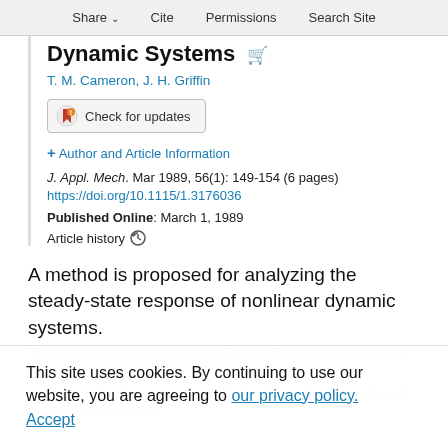Share  Cite  Permissions  Search Site
Dynamic Systems
T. M. Cameron, J. H. Griffin
[Figure (other): Check for updates badge button]
+ Author and Article Information
J. Appl. Mech. Mar 1989, 56(1): 149-154 (6 pages) https://doi.org/10.1115/1.3176036
Published Online: March 1, 1989
Article history
A method is proposed for analyzing the steady-state response of nonlinear dynamic systems.
The method iterates to obtain the discrete Fourier transform of the system response, returning to the time domain at each iteration to take advantage of the ease in evaluating
This site uses cookies. By continuing to use our website, you are agreeing to our privacy policy. Accept